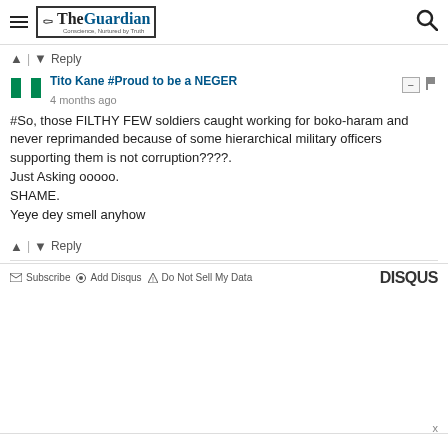The Guardian
↑ | ↓ Reply
Tito Kane #Proud to be a NEGER
4 months ago
#So, those FILTHY FEW soldiers caught working for boko-haram and never reprimanded because of some hierarchical military officers supporting them is not corruption????.
Just Asking ooooo.
SHAME.
Yeye dey smell anyhow
↑ | ↓ Reply
Subscribe | Add Disqus | Do Not Sell My Data | DISQUS